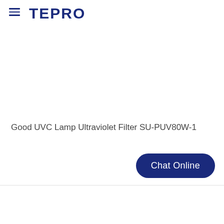TEPRO
Good UVC Lamp Ultraviolet Filter SU-PUV80W-1
Chat Online